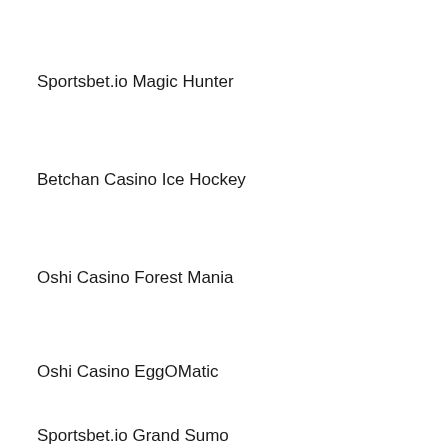Sportsbet.io Magic Hunter
Betchan Casino Ice Hockey
Oshi Casino Forest Mania
Oshi Casino EggOMatic
Sportsbet.io Grand Sumo